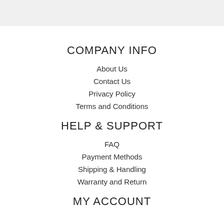COMPANY INFO
About Us
Contact Us
Privacy Policy
Terms and Conditions
HELP & SUPPORT
FAQ
Payment Methods
Shipping & Handling
Warranty and Return
MY ACCOUNT